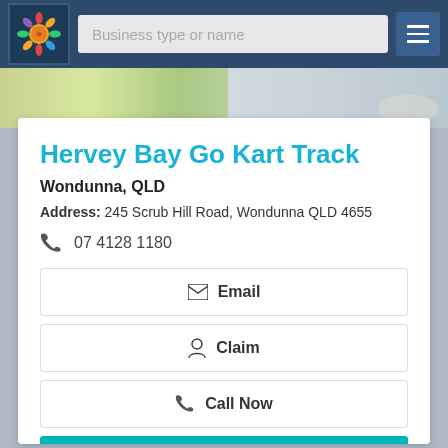Business type or name
[Figure (photo): Partial photo strip showing a vehicle/trailer in an outdoor setting]
Hervey Bay Go Kart Track
Wondunna, QLD
Address: 245 Scrub Hill Road, Wondunna QLD 4655
07 4128 1180
Email
Claim
Call Now
View Details